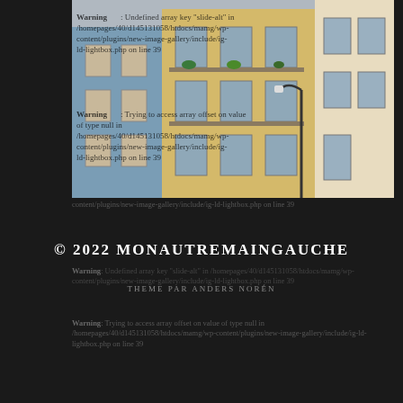[Figure (photo): Photograph of colorful European (likely Lisbon) building facades with balconies, shuttered windows, plants on balconies, and a street lamp. Buildings are yellow, blue, and beige.]
Warning: Undefined array key "slide-alt" in /homepages/40/d145131058/htdocs/mamg/wp-content/plugins/new-image-gallery/include/ig-ld-lightbox.php on line 39
Warning: Undefined array key "slide-alt" in /homepages/40/d145131058/htdocs/mamg/wp-content/plugins/new-image-gallery/include/ig-ld-lightbox.php on line 39
Warning: Trying to access array offset on value of type null in /homepages/40/d145131058/htdocs/mamg/wp-content/plugins/new-image-gallery/include/ig-ld-lightbox.php on line 39
© 2022 MONAUTREMAINGAUCHE
THEME PAR ANDERS NORÉN
Warning: Undefined array key "slide-alt" in /homepages/40/d145131058/htdocs/mamg/wp-content/plugins/new-image-gallery/include/ig-ld-lightbox.php on line 39
Warning: Trying to access array offset on value of type null in /homepages/40/d145131058/htdocs/mamg/wp-content/plugins/new-image-gallery/include/ig-ld-lightbox.php on line 39